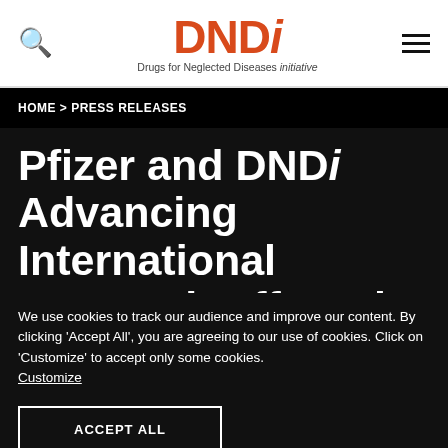DNDi — Drugs for Neglected Diseases initiative
HOME > PRESS RELEASES
Pfizer and DNDi Advancing International Research Efforts in The
We use cookies to track our audience and improve our content. By clicking 'Accept All', you are agreeing to our use of cookies. Click on 'Customize' to accept only some cookies. Customize
ACCEPT ALL